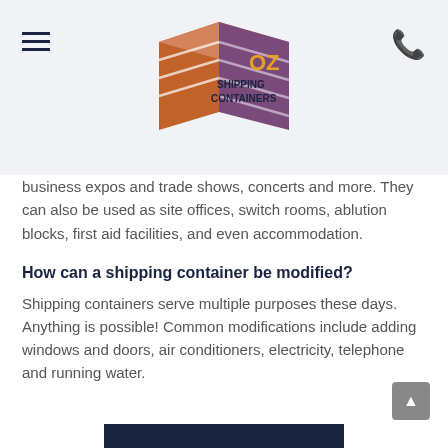OZ Shipping Containers logo with hamburger menu and phone icon
business expos and trade shows, concerts and more. They can also be used as site offices, switch rooms, ablution blocks, first aid facilities, and even accommodation.
How can a shipping container be modified?
Shipping containers serve multiple purposes these days. Anything is possible! Common modifications include adding windows and doors, air conditioners, electricity, telephone and running water.